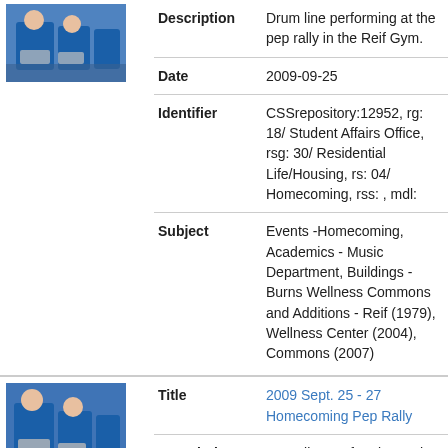[Figure (photo): Photo of drum line performers at a pep rally, person playing drums in blue uniform]
| Field | Value |
| --- | --- |
| Description | Drum line performing at the pep rally in the Reif Gym. |
| Date | 2009-09-25 |
| Identifier | CSSrepository:12952, rg: 18/ Student Affairs Office, rsg: 30/ Residential Life/Housing, rs: 04/ Homecoming, rss: , mdl: |
| Subject | Events -Homecoming, Academics - Music Department, Buildings -Burns Wellness Commons and Additions - Reif (1979), Wellness Center (2004), Commons (2007) |
[Figure (photo): Photo of drum line performers at a pep rally, person playing drums in blue uniform, second record]
| Field | Value |
| --- | --- |
| Title | 2009 Sept. 25 - 27 Homecoming Pep Rally |
| Description | Drum line performing at the pep rally |